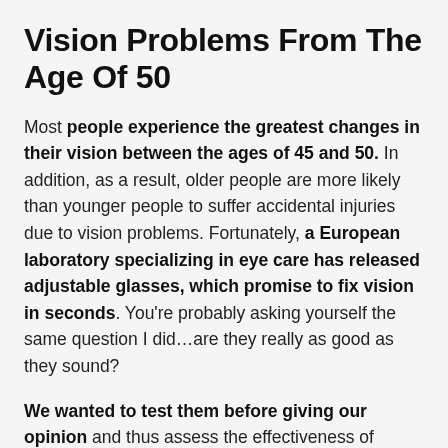Vision Problems From The Age Of 50
Most people experience the greatest changes in their vision between the ages of 45 and 50. In addition, as a result, older people are more likely than younger people to suffer accidental injuries due to vision problems. Fortunately, a European laboratory specializing in eye care has released adjustable glasses, which promise to fix vision in seconds. You’re probably asking yourself the same question I did…are they really as good as they sound?
We wanted to test them before giving our opinion and thus assess the effectiveness of